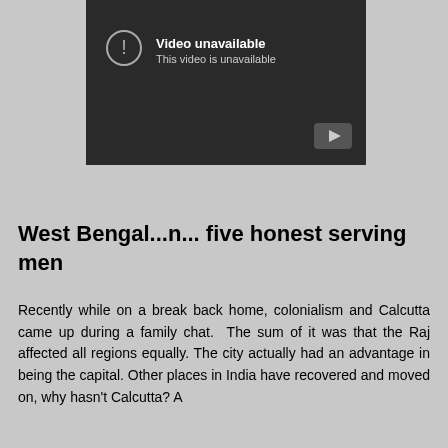[Figure (screenshot): YouTube video player showing 'Video unavailable - This video is unavailable' message on a dark background with YouTube logo button in bottom right corner.]
West Bengal...n... five honest serving men
Recently while on a break back home, colonialism and Calcutta came up during a family chat. The sum of it was that the Raj affected all regions equally. The city actually had an advantage in being the capital. Other places in India have recovered and moved on, why hasn't Calcutta? A